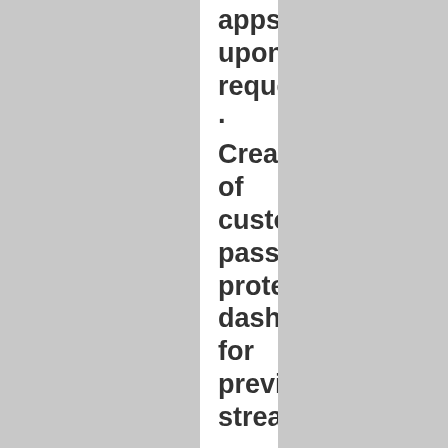apps) upon request
· Creation of custom password-protected dashboard/portal for previewing streams
· Ability to make money with SevereStudios brokering services!
· Re-feed your SevereStudios stream to facebook and other social platforms without doubling bandwidth usage!
· Tech Support: Priority setup and support, via phone, email, chat, and/or remote control, including on-call staff
· Experienced broadcast engineering support to get video from the field to air!
· 25% Discount for multiple media accounts.
· Contact us for more information or invoice billing options
THE WORKS - ENTERTAINER PACKAGE